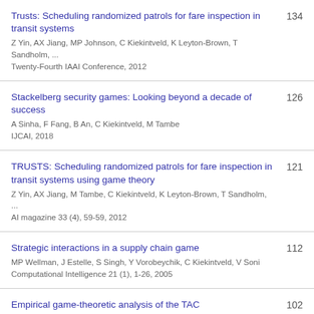Trusts: Scheduling randomized patrols for fare inspection in transit systems
Z Yin, AX Jiang, MP Johnson, C Kiekintveld, K Leyton-Brown, T Sandholm, ...
Twenty-Fourth IAAI Conference, 2012
134
Stackelberg security games: Looking beyond a decade of success
A Sinha, F Fang, B An, C Kiekintveld, M Tambe
IJCAI, 2018
126
TRUSTS: Scheduling randomized patrols for fare inspection in transit systems using game theory
Z Yin, AX Jiang, M Tambe, C Kiekintveld, K Leyton-Brown, T Sandholm, ...
AI magazine 33 (4), 59-59, 2012
121
Strategic interactions in a supply chain game
MP Wellman, J Estelle, S Singh, Y Vorobeychik, C Kiekintveld, V Soni
Computational Intelligence 21 (1), 1-26, 2005
112
Empirical game-theoretic analysis of the TAC
102